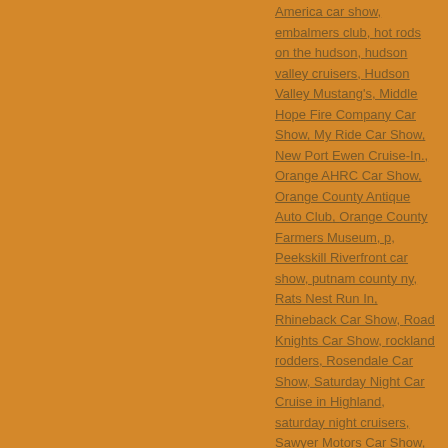America car show, embalmers club, hot rods on the hudson, hudson valley cruisers, Hudson Valley Mustang's, Middle Hope Fire Company Car Show, My Ride Car Show, New Port Ewen Cruise-In., Orange AHRC Car Show, Orange County Antique Auto Club, Orange County Farmers Museum, p, Peekskill Riverfront car show, putnam county ny, Rats Nest Run In, Rhineback Car Show, Road Knights Car Show, rockland rodders, Rosendale Car Show, Saturday Night Car Cruise in Highland, saturday night cruisers, Sawyer Motors Car Show, States Grill Car Truck & Bike Cruise, States Grill Halloween Show, street life auto club, The Classics Cruisers, tri state car club, Walden Classic Car Show, Woodstock British Car Show Woodstock